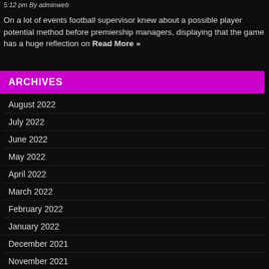5:12 pm By adminweb
On a lot of events football supervisor knew about a possible player potential method before premiership managers, displaying that the game has a huge reflection on Read More »
ARCHIVES
August 2022
July 2022
June 2022
May 2022
April 2022
March 2022
February 2022
January 2022
December 2021
November 2021